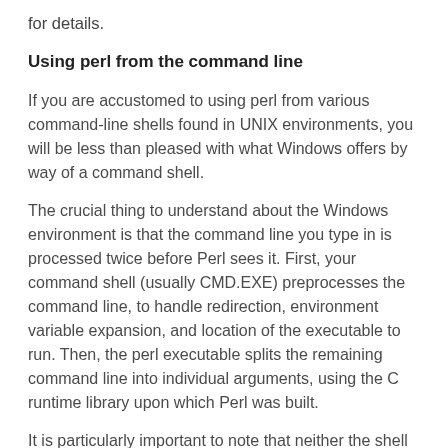for details.
Using perl from the command line
If you are accustomed to using perl from various command-line shells found in UNIX environments, you will be less than pleased with what Windows offers by way of a command shell.
The crucial thing to understand about the Windows environment is that the command line you type in is processed twice before Perl sees it. First, your command shell (usually CMD.EXE) preprocesses the command line, to handle redirection, environment variable expansion, and location of the executable to run. Then, the perl executable splits the remaining command line into individual arguments, using the C runtime library upon which Perl was built.
It is particularly important to note that neither the shell nor the C runtime do any wildcard expansions